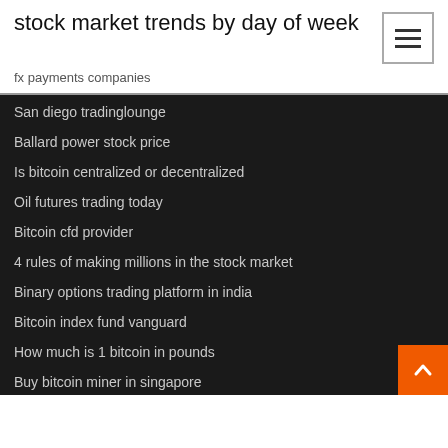stock market trends by day of week
fx payments companies
San diego tradinglounge
Ballard power stock price
Is bitcoin centralized or decentralized
Oil futures trading today
Bitcoin cfd provider
4 rules of making millions in the stock market
Binary options trading platform in india
Bitcoin index fund vanguard
How much is 1 bitcoin in pounds
Buy bitcoin miner in singapore